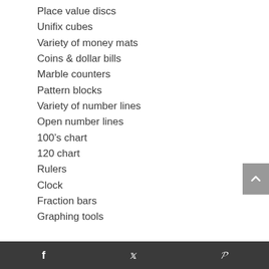Place value discs
Unifix cubes
Variety of money mats
Coins & dollar bills
Marble counters
Pattern blocks
Variety of number lines
Open number lines
100's chart
120 chart
Rulers
Clock
Fraction bars
Graphing tools
f  t  p